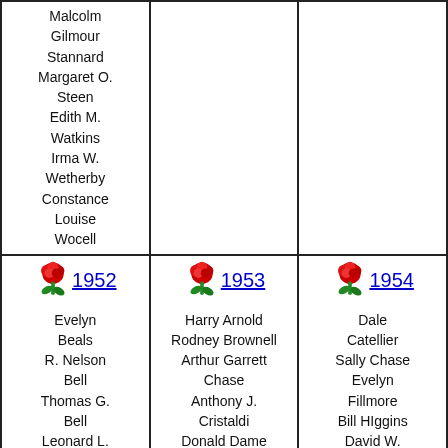| (prev col continued) | 1953 | 1954 |
| --- | --- | --- |
| Malcolm
Gilmour
Stannard
Margaret O.
Steen
Edith M.
Watkins
Irma W.
Wetherby
Constance
Louise
Wocell |  |  |
| 🌹 1952

Evelyn
Beals
R. Nelson
Bell
Thomas G.
Bell
Leonard L.
Germain
Thomas G.
Gorman | 🌹 1953

Harry Arnold
Rodney Brownell
Arthur Garrett
Chase
Anthony J.
Cristaldi
Donald Dame
William Dame
Elizabeth Green
Norman Hong | 🌹 1954

Dale
Catellier
Sally Chase
Evelyn
Fillmore
Bill HIggins
David W.
Hoffman
Marilyn
Kenyon |